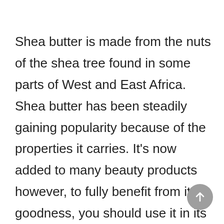Shea butter is made from the nuts of the shea tree found in some parts of West and East Africa. Shea butter has been steadily gaining popularity because of the properties it carries. It's now added to many beauty products however, to fully benefit from its goodness, you should use it in its unrefined form. It has a high concentration of fatty acids, minerals, and vitamins.  It also contains anti-inflammatory, anti-oxidant, anti-microbial, and anti-fungal properties which help in soothing, repairing, and healing the skin. When warmed, it's smooth in consistency, light, easily absorbed by